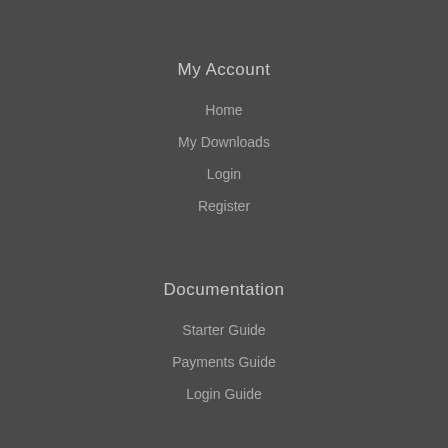My Account
Home
My Downloads
Login
Register
Documentation
Starter Guide
Payments Guide
Login Guide